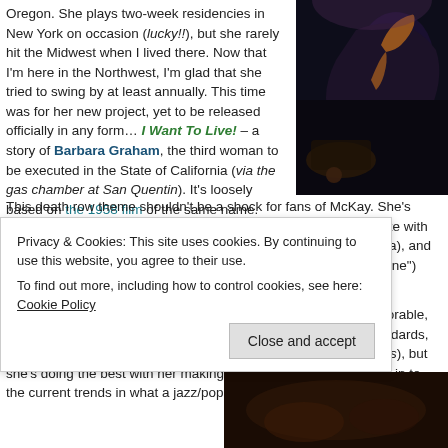Oregon. She plays two-week residencies in New York on occasion (lucky!!), but she rarely hit the Midwest when I lived there. Now that I'm here in the Northwest, I'm glad that she tried to swing by at least annually. This time was for her new project, yet to be released officially in any form… I Want To Live! – a story of Barbara Graham, the third woman to be executed in the State of California (via the gas chamber at San Quentin). It's loosely based on the 1958 film of the same name.
[Figure (photo): Dark photo of a performer on stage with arm raised, concert lighting]
This death row theme shouldn't be a shock for fans of McKay. She's never been – hitting political hot-button issues right out of the gate with her debut album, Get a Pose, "Won't U Please B Nice," et cetera), and some of her non-jazz-standard Head ("Cupcake" and "The Big One") and Obligatory Villagers ("Mother of Pearl")
In person, though, she's as lovable and jovial as some of her adorable, campy pr also a great thinker, great interpreter of classics & standards, and a great artist in have been "born in the wrong era" (her words), but she's doing the best with her making a great mark and not giving in to the current trends in what a jazz/pop "we
Privacy & Cookies: This site uses cookies. By continuing to use this website, you agree to their use.
To find out more, including how to control cookies, see here: Cookie Policy
Close and accept
[Figure (photo): Bottom photo partially visible, dark warm tones]